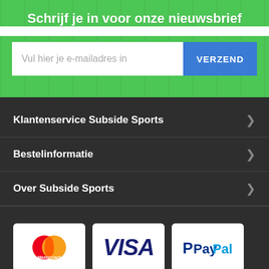Schrijf je in voor onze nieuwsbrief
Vul hier je e-mailadres in
VERZEND
Klantenservice Subside Sports
Bestelinformatie
Over Subside Sports
[Figure (logo): MasterCard, VISA, and PayPal payment logos]
Filter